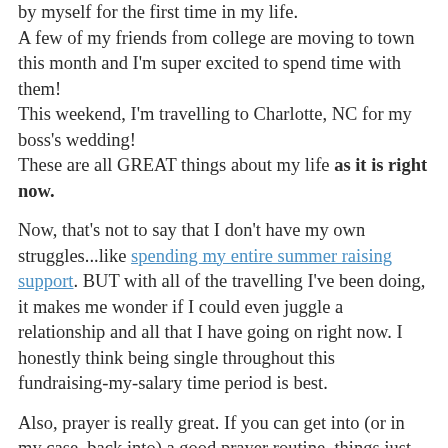by myself for the first time in my life. A few of my friends from college are moving to town this month and I'm super excited to spend time with them! This weekend, I'm travelling to Charlotte, NC for my boss's wedding! These are all GREAT things about my life as it is right now.
Now, that's not to say that I don't have my own struggles...like spending my entire summer raising support. BUT with all of the travelling I've been doing, it makes me wonder if I could even juggle a relationship and all that I have going on right now. I honestly think being single throughout this fundraising-my-salary time period is best.
Also, prayer is really great. If you can get into (or in my case, back into) a good prayer routine, things just seem to be a lot easier...I think that's what they call grace. ;)
But the envy is always there....no matter how hard you try, when you're vulnerable and feeling weak, it creeps in. And I really believe that the only way to truly combat it is to acknowledge that this is something you are dealing with it